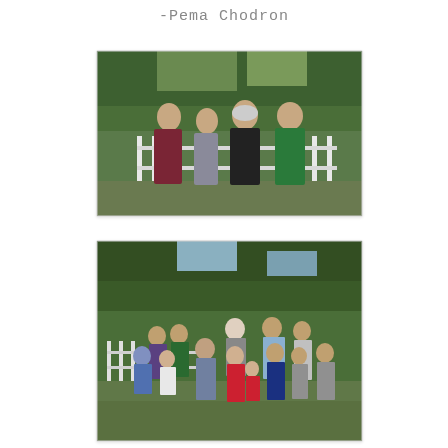-Pema Chodron
[Figure (photo): Four adults standing outdoors in front of a white picket fence with green trees behind. From left: bald man with beard in dark red/maroon t-shirt, woman with short hair in gray shirt, older man with white hair and beard in black t-shirt, man in green Boston Red Sox t-shirt.]
[Figure (photo): Large family group of about 12 people standing on a grass lawn outdoors with white picket fence and green trees behind. Group includes adults and children of various ages, wearing casual summer clothes.]